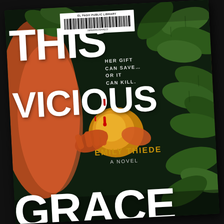[Figure (photo): A photograph of a library copy of the book 'This Vicious Grace' by Emily Thiede, placed on a dark background. The book cover shows large white bold text reading 'THIS VICIOUS GRACE', with a tagline 'HER GIFT CAN SAVE... OR IT CAN KILL.' and the author name 'EMILY THIEDE' in gold letters, with 'A NOVEL' beneath it. The cover features a dark green leafy background with an orange/red figure holding a fruit. A library barcode sticker from El Paso Public Library is affixed to the top of the cover with barcode number 1BRD00028AA022.]